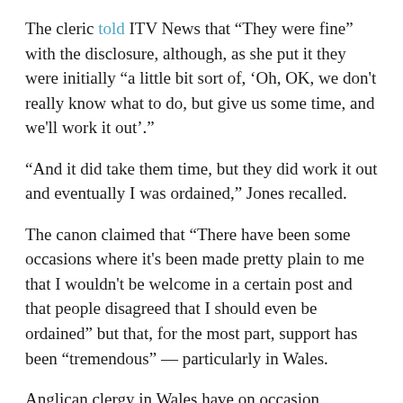The cleric told ITV News that “They were fine” with the disclosure, although, as she put it they were initially “a little bit sort of, ‘Oh, OK, we don’t really know what to do, but give us some time, and we’ll work it out’.”
“And it did take them time, but they did work it out and eventually I was ordained,” Jones recalled.
The canon claimed that “There have been some occasions where it’s been made pretty plain to me that I wouldn’t be welcome in a certain post and that people disagreed that I should even be ordained” but that, for the most part, support has been “tremendous” — particularly in Wales.
Anglican clergy in Wales have on occasion displayed a marked tendency towards the “woke” politics of the